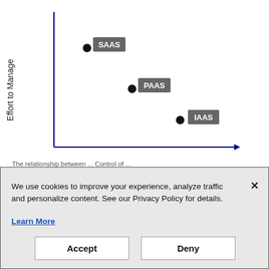[Figure (scatter-plot): ]
We use cookies to improve your experience, analyze traffic and personalize content. See our Privacy Policy for details. Learn More
Accept
Deny